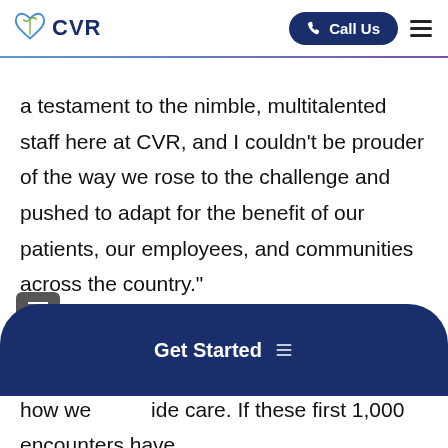CVR | Call Us
a testament to the nimble, multitalented staff here at CVR, and I couldn’t be prouder of the way we rose to the challenge and pushed to adapt for the benefit of our patients, our employees, and communities across the country.”
He continued, “This unfortunate situation has brought the opportunity to recalibrate how we provide care. If these first 1,000 encounters have
Get Started